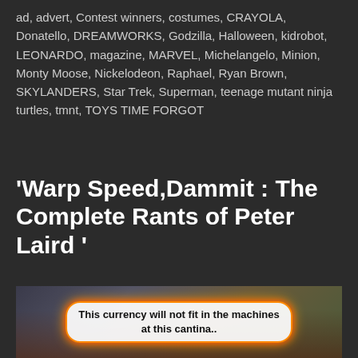ad, advert, Contest winners, costumes, CRAYOLA, Donatello, DREAMWORKS, Godzilla, Halloween, kidrobot, LEONARDO, magazine, MARVEL, Michelangelo, Minion, Monty Moose, Nickelodeon, Raphael, Ryan Brown, SKYLANDERS, Star Trek, Superman, teenage mutant ninja turtles, tmnt, TOYS TIME FORGOT
'Warp Speed,Dammit : The Complete Rants of Peter Laird '
[Figure (photo): Photo of toy figures at a cantina scene with a speech bubble overlay reading 'This currency will not fit in the machines at this cantina..']